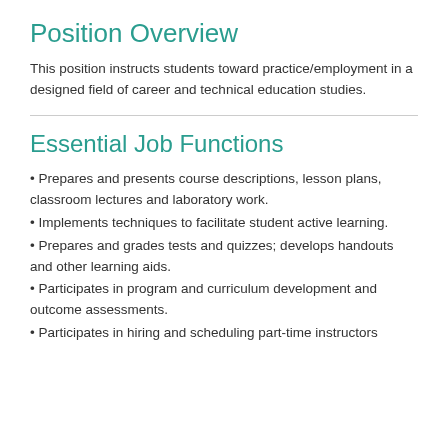Position Overview
This position instructs students toward practice/employment in a designed field of career and technical education studies.
Essential Job Functions
Prepares and presents course descriptions, lesson plans, classroom lectures and laboratory work.
Implements techniques to facilitate student active learning.
Prepares and grades tests and quizzes; develops handouts and other learning aids.
Participates in program and curriculum development and outcome assessments.
Participates in hiring and scheduling part-time instructors